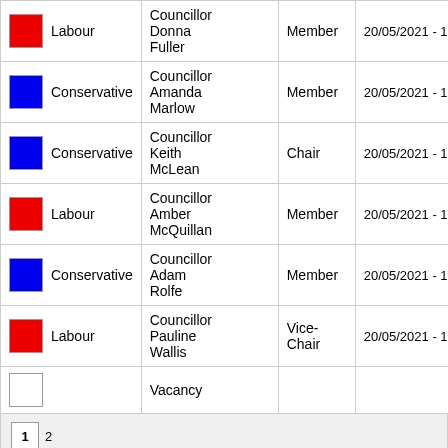| Party | Name | Role | Date |
| --- | --- | --- | --- |
| Labour | Councillor Donna Fuller | Member | 20/05/2021 - 17/05/... |
| Conservative | Councillor Amanda Marlow | Member | 20/05/2021 - 17/05/... |
| Conservative | Councillor Keith McLean | Chair | 20/05/2021 - 17/05/... |
| Labour | Councillor Amber McQuillan | Member | 20/05/2021 - 17/05/... |
| Conservative | Councillor Adam Rolfe | Member | 20/05/2021 - 17/05/... |
| Labour | Councillor Pauline Wallis | Vice-Chair | 20/05/2021 - 17/05/... |
|  | Vacancy |  |  |
Page 1 of 2, Displaying items 1 to 10 of 12 members/vacancies that match sea
Committee Clerk